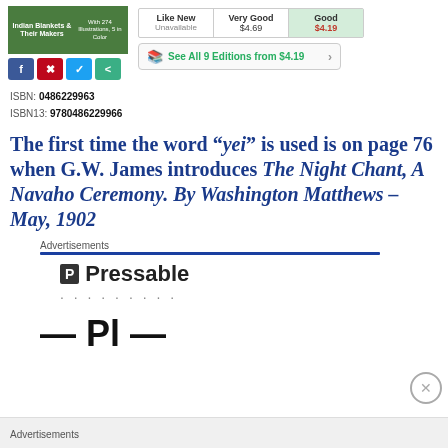[Figure (screenshot): Book cover for 'Indian Blankets & Their Makers' with green background and white text]
[Figure (screenshot): Social sharing buttons: Facebook (blue), Pinterest (red), Twitter (blue), Share (teal)]
| Like New | Very Good | Good |
| --- | --- | --- |
| Unavailable | $4.69 | $4.19 |
ISBN: 0486229963
ISBN13: 9780486229966
See All 9 Editions from $4.19
The first time the word “yei” is used is on page 76 when G.W. James introduces The Night Chant, A Navaho Ceremony. By Washington Matthews – May, 1902
Advertisements
[Figure (logo): Pressable logo with dots below]
[Figure (screenshot): Partial text of advertisement, cut off at bottom]
Advertisements